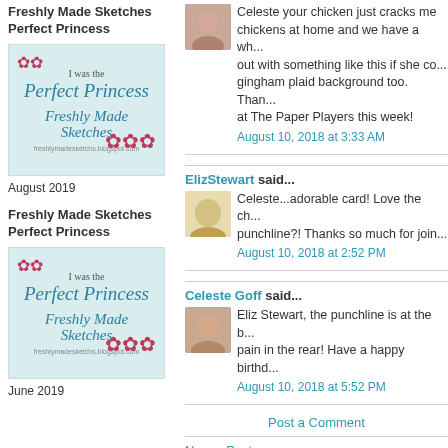Freshly Made Sketches Perfect Princess
[Figure (illustration): Badge image: light teal background with 'I was the Perfect Princess, Freshly Made Sketches' text and pink flower decorations]
August 2019
Freshly Made Sketches Perfect Princess
[Figure (illustration): Badge image: light teal background with 'I was the Perfect Princess, Freshly Made Sketches' text and pink flower decorations]
June 2019
Celeste your chicken just cracks me... chickens at home and we have a wh... out with something like this if she co... gingham plaid background too. Than... at The Paper Players this week!
August 10, 2018 at 3:33 AM
ElizStewart said...
Celeste...adorable card! Love the ch... punchline?! Thanks so much for join...
August 10, 2018 at 2:52 PM
Celeste Goff said...
Eliz Stewart, the punchline is at the b... pain in the rear! Have a happy birthd...
August 10, 2018 at 5:52 PM
Post a Comment
Newer Post
Subscribe to: Post Comments (Atom)